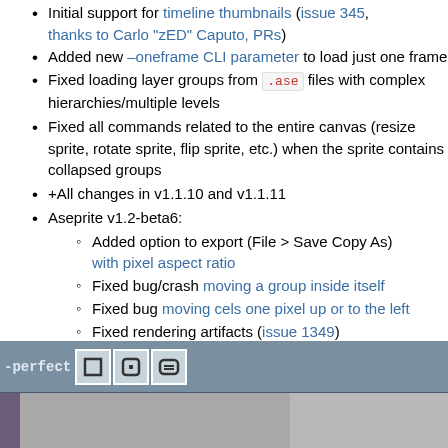Initial support for timeline thumbnails (issue 345, thanks to Carlo "zED" Caputo, PRs)
Added new –oneframe CLI parameter to load just one frame
Fixed loading layer groups from .ase files with complex hierarchies/multiple levels
Fixed all commands related to the entire canvas (resize sprite, rotate sprite, flip sprite, etc.) when the sprite contains collapsed groups
+All changes in v1.1.10 and v1.1.11
Aseprite v1.2-beta6:
Added option to export (File > Save Copy As) with pixel aspect ratio
Fixed bug/crash moving a group inside itself
Fixed bug moving cels one pixel up or to the left
Fixed rendering artifacts (issue 1349)
+All changes in v1.1.12
Aseprite v1.2-beta7 includes all changes in v1.1.13
[Figure (screenshot): Aseprite application toolbar showing pixel-perfect mode toggle buttons and canvas area with dark UI]